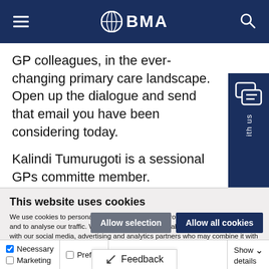BMA
GP colleagues, in the ever-changing primary care landscape. Open up the dialogue and send that email you have been considering today.
Kalindi Tumurugoti is a sessional GPs committee member.
This website uses cookies
We use cookies to personalise content and ads, to provide social media features and to analyse our traffic. We also share information about your use of our site with our social media, advertising and analytics partners who may combine it with other information that you've provided to them or that they've collected from your use of their services.
Allow selection | Allow all cookies
Necessary | Preferences | Statistics | Marketing | Show details | Feedback